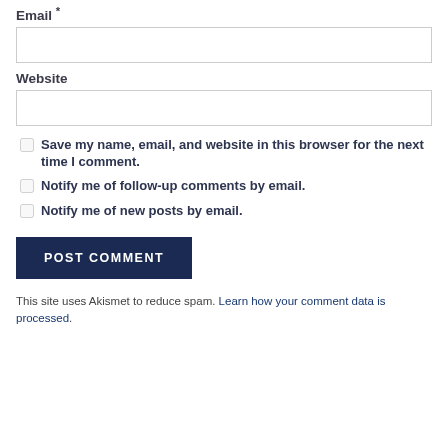Email *
(email input field)
Website
(website input field)
Save my name, email, and website in this browser for the next time I comment.
Notify me of follow-up comments by email.
Notify me of new posts by email.
POST COMMENT
This site uses Akismet to reduce spam. Learn how your comment data is processed.